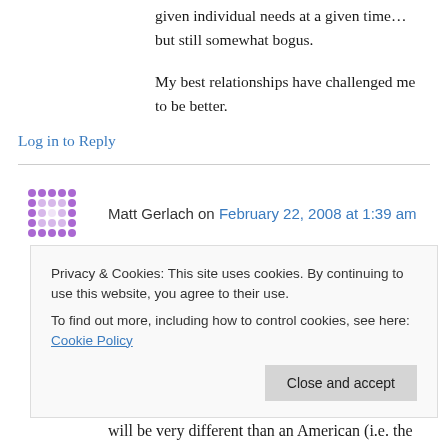given individual needs at a given time… but still somewhat bogus.
My best relationships have challenged me to be better.
Log in to Reply
Matt Gerlach on February 22, 2008 at 1:39 am
I agree with you about the idea that an American post-modern Shamanism needs to be developed
Privacy & Cookies: This site uses cookies. By continuing to use this website, you agree to their use.
To find out more, including how to control cookies, see here: Cookie Policy
Close and accept
will be very different than an American (i.e. the